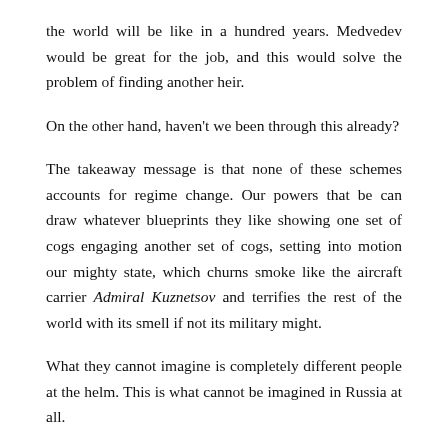the world will be like in a hundred years. Medvedev would be great for the job, and this would solve the problem of finding another heir.
On the other hand, haven't we been through this already?
The takeaway message is that none of these schemes accounts for regime change. Our powers that be can draw whatever blueprints they like showing one set of cogs engaging another set of cogs, setting into motion our mighty state, which churns smoke like the aircraft carrier Admiral Kuznetsov and terrifies the rest of the world with its smell if not its military might.
What they cannot imagine is completely different people at the helm. This is what cannot be imagined in Russia at all.